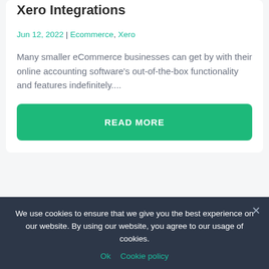Xero Integrations
Jun 12, 2022 | Ecommerce, Xero
Many smaller eCommerce businesses can get by with their online accounting software's out-of-the-box functionality and features indefinitely....
READ MORE
We use cookies to ensure that we give you the best experience on our website. By using our website, you agree to our usage of cookies.
Ok   Cookie policy